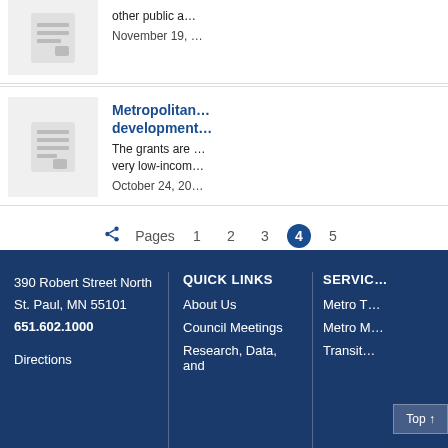[Figure (illustration): Document/newspaper icon thumbnail for first card item]
other public a… November 19, …
[Figure (illustration): Document/newspaper icon thumbnail for second card item (Metropolitan development grants)]
Metropolitan… development…
The grants are … very low-incom…
October 24, 20…
Pages  1  2  3  4  5
390 Robert Street North
St. Paul, MN 55101
651.602.1000

Directions

QUICK LINKS
About Us
Council Meetings
Research, Data, and

SERVIC…
Metro T…
Metro M…
Transit…